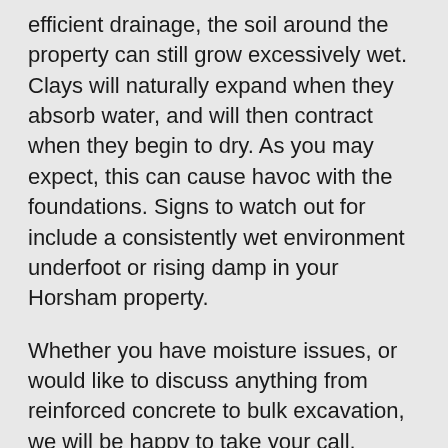efficient drainage, the soil around the property can still grow excessively wet. Clays will naturally expand when they absorb water, and will then contract when they begin to dry. As you may expect, this can cause havoc with the foundations. Signs to watch out for include a consistently wet environment underfoot or rising damp in your Horsham property.
Whether you have moisture issues, or would like to discuss anything from reinforced concrete to bulk excavation, we will be happy to take your call.
Subsidence and Settlement – Sometimes cause by the aforementioned shrinking clay, the washing away of soil, or the wrong foundation